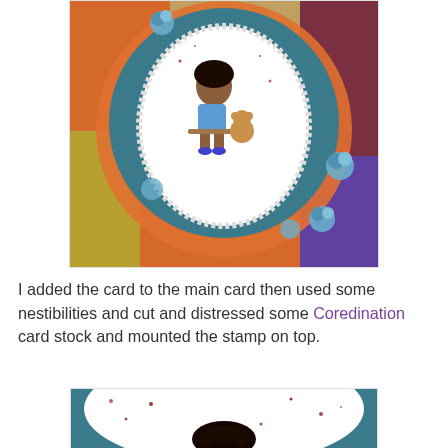[Figure (photo): Close-up photo of a handmade greeting card featuring a circular teal embellishment with a scalloped orange layer beneath, and a white doily-style oval featuring a stamped image of a boy sitting on a bench with a teddy bear. Surrounding the card are blue paper roses and textured patterned papers in orange, gold, maroon, and purple.]
I added the card to the main card then used some nestibilities and cut and distressed some Coredination card stock and mounted the stamp on top.
[Figure (photo): Close-up photo showing the top portion of a stamped image of a boy's head with dark curly hair, on a white scalloped background with red speckles, against a teal background.]